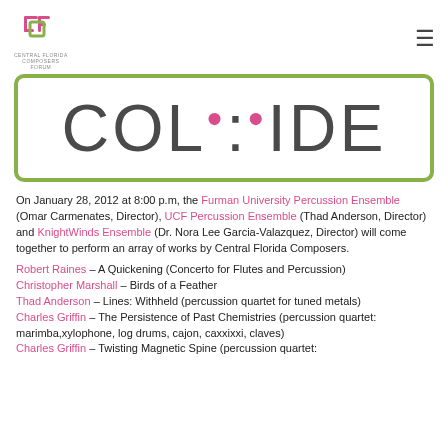Central Florida Composers Forum logo and navigation menu
[Figure (illustration): Large banner with green rounded rectangle border containing the word COLLIDE in large gray letters with pink dots as decorative elements]
On January 28, 2012 at 8:00 p.m, the Furman University Percussion Ensemble (Omar Carmenates, Director), UCF Percussion Ensemble (Thad Anderson, Director) and KnightWinds Ensemble (Dr. Nora Lee Garcia-Valazquez, Director) will come together to perform an array of works by Central Florida Composers.
Robert Raines – A Quickening (Concerto for Flutes and Percussion)
Christopher Marshall – Birds of a Feather
Thad Anderson – Lines: Withheld (percussion quartet for tuned metals)
Charles Griffin – The Persistence of Past Chemistries (percussion quartet: marimba,xylophone, log drums, cajon, caxxixxi, claves)
Charles Griffin – Twisting Magnetic Spine (percussion quartet: